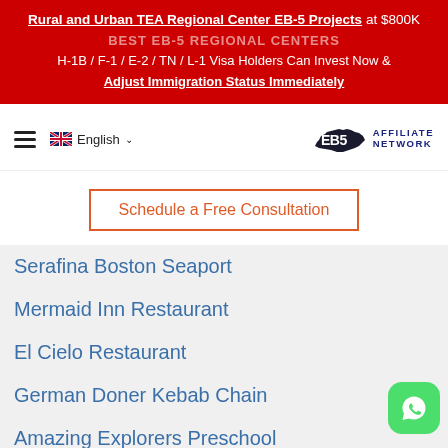Rural and Urban TEA Regional Center EB-5 Projects at $800K
H-1B / F-1 / E-2 / TN / L-1 Visa Holders Can Invest Now & Adjust Immigration Status Immediately
[Figure (logo): EB5 Affiliate Network logo with US map silhouette and hamburger menu, English language selector]
Schedule a Free Consultation
Serafina Boston Seaport
Mermaid Inn Restaurant
El Cielo Restaurant
German Doner Kebab Chain
Amazing Explorers Preschool
Mai-Kai Restaurant
Norman's Orlando Restaurant